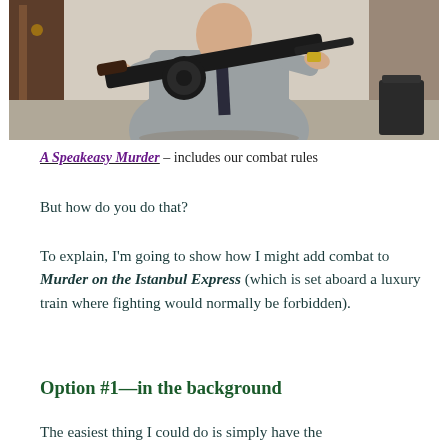[Figure (photo): A person in a grey shirt holding a black submachine gun / tommy gun indoors, with wooden furniture visible in the background.]
A Speakeasy Murder – includes our combat rules
But how do you do that?
To explain, I'm going to show how I might add combat to Murder on the Istanbul Express (which is set aboard a luxury train where fighting would normally be forbidden).
Option #1—in the background
The easiest thing I could do is simply have the